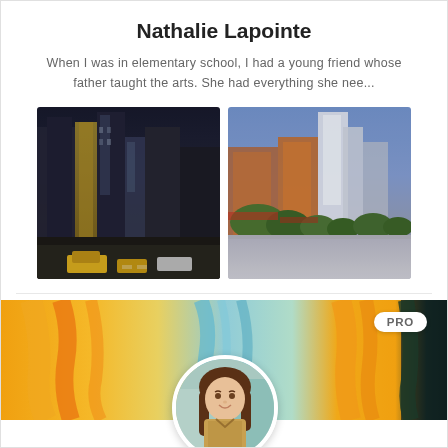Nathalie Lapointe
When I was in elementary school, I had a young friend whose father taught the arts. She had everything she nee...
[Figure (photo): Painting of a dark urban cityscape with tall buildings and yellow taxis on a city street]
[Figure (photo): Colorful painting of a city street scene with orange buildings, green trees, and a blue sky]
[Figure (photo): Profile banner with abstract colorful painting in orange, yellow, teal and blue, with a PRO badge and circular profile photo of a young woman with long brown hair]